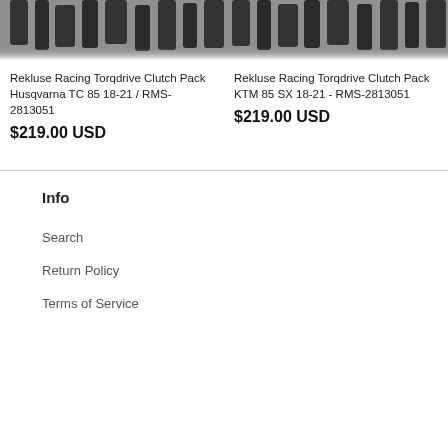[Figure (photo): Partial product image of Rekluse Racing Torqdrive Clutch Pack Husqvarna TC 85 showing dark clutch plates from above]
Rekluse Racing Torqdrive Clutch Pack Husqvarna TC 85 18-21 / RMS-2813051
$219.00 USD
[Figure (photo): Partial product image of Rekluse Racing Torqdrive Clutch Pack KTM 85 SX showing dark clutch plates from above]
Rekluse Racing Torqdrive Clutch Pack KTM 85 SX 18-21 - RMS-2813051
$219.00 USD
Info
Search
Return Policy
Terms of Service